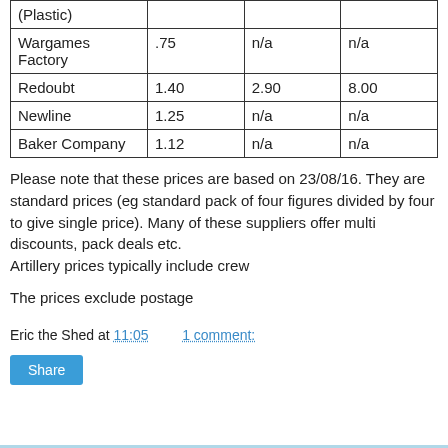| (Plastic) |  |  |  |
| Wargames Factory | .75 | n/a | n/a |
| Redoubt | 1.40 | 2.90 | 8.00 |
| Newline | 1.25 | n/a | n/a |
| Baker Company | 1.12 | n/a | n/a |
Please note that these prices are based on 23/08/16. They are standard prices (eg standard pack of four figures divided by four to give single price). Many of these suppliers offer multi discounts, pack deals etc.
Artillery prices typically include crew
The prices exclude postage
Eric the Shed at 11:05    1 comment: